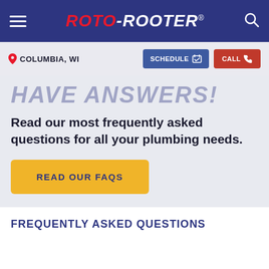ROTO-ROOTER®
COLUMBIA, WI
SCHEDULE | CALL
HAVE ANSWERS!
Read our most frequently asked questions for all your plumbing needs.
READ OUR FAQS
FREQUENTLY ASKED QUESTIONS